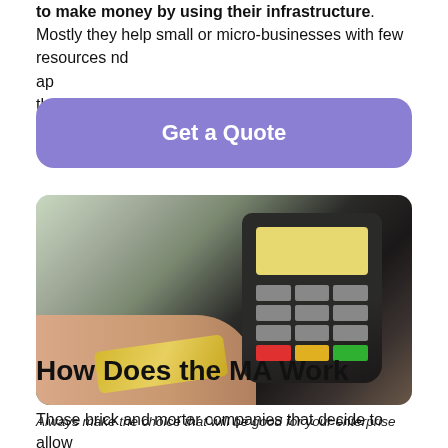to make money by using their infrastructure. Mostly they help small or micro-businesses with few resources nd ap the
[Figure (other): A purple rounded rectangle button overlay with white bold text 'Get a Quote' overlaid on the page content]
[Figure (photo): A person's hand inserting or swiping a gold credit/debit card into a black POS payment terminal, with a yellow display screen and coloured keypad buttons visible]
Always make the choice that will be good for your enterprise
How Does the MA Work
Those brick and mortar companies that decide to allow